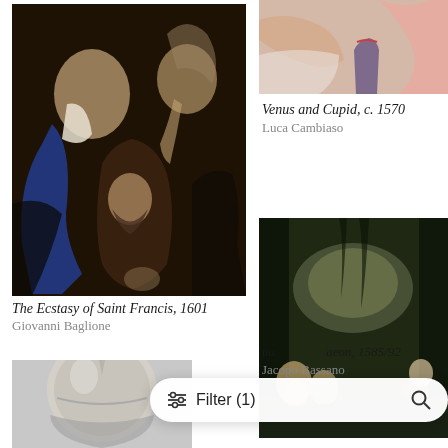[Figure (photo): Painting: The Ecstasy of Saint Francis, 1601 by Giovanni Baglione. Dark baroque painting showing figures including Saint Francis and angels.]
The Ecstasy of Saint Francis, 1601
Giovanni Baglione
[Figure (photo): Painting: Venus and Cupid, c. 1570 by Luca Cambiaso. Partial view of a figure with pink drapery.]
Venus and Cupid, c. 1570
Luca Cambiaso
[Figure (photo): Painting: Diana and Actaeon, 1585/92 by Jacopo Bassano. Landscape with figures and dogs in dark forest setting.]
Diana and Actaeon, 1585/92
Jacopo Bassano
[Figure (photo): Armor helmet, silver/gilt metal, partial view at bottom left.]
Filter (1)